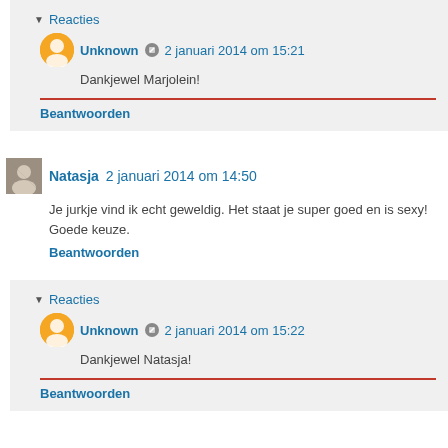Reacties
Unknown · 2 januari 2014 om 15:21
Dankjewel Marjolein!
Beantwoorden
Natasja  2 januari 2014 om 14:50
Je jurkje vind ik echt geweldig. Het staat je super goed en is sexy! Goede keuze.
Beantwoorden
Reacties
Unknown · 2 januari 2014 om 15:22
Dankjewel Natasja!
Beantwoorden